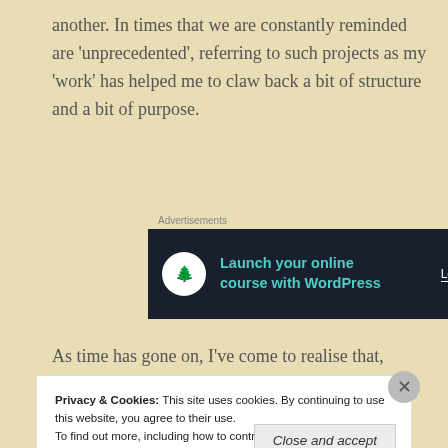another. In times that we are constantly reminded are ‘unprecedented’, referring to such projects as my ‘work’ has helped me to claw back a bit of structure and a bit of purpose.
Advertisements
[Figure (screenshot): Advertisement banner with dark navy background, tree icon, teal text 'Launch your online course with WordPress', and 'Learn More' button in white.]
As time has gone on, I’ve come to realise that, while this
Privacy & Cookies: This site uses cookies. By continuing to use this website, you agree to their use. To find out more, including how to control cookies, see here: Cookie Policy
Close and accept